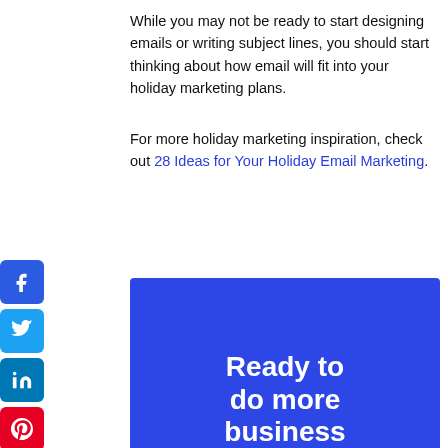While you may not be ready to start designing emails or writing subject lines, you should start thinking about how email will fit into your holiday marketing plans.
For more holiday marketing inspiration, check out 28 Ideas for Your Holiday Email Marketing.
[Figure (illustration): Blue promotional banner with white bold text reading 'Ready to do more business']